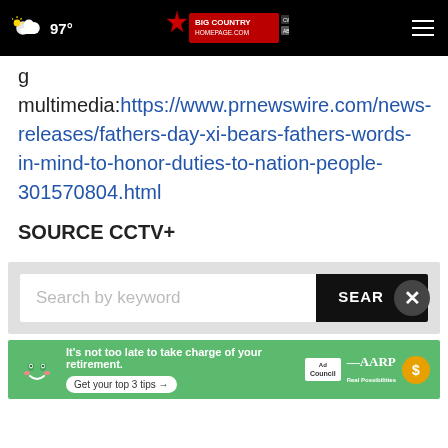97° Big Country Homepage
g multimedia:https://www.prnewswire.com/news-releases/fathers-day-xi-bears-fathers-words-in-mind-to-honor-duties-to-nation-people-301570804.html
SOURCE CCTV+
[Figure (screenshot): Search bar with text 'Search by keyword' and black SEARCH button, with close button overlay]
[Figure (screenshot): AARP advertisement banner: green background with cartoon face, text 'It's not too late to take charge of your retirement. Get your top 3 tips', Ad Council logo, AARP logo, gold coin icon]